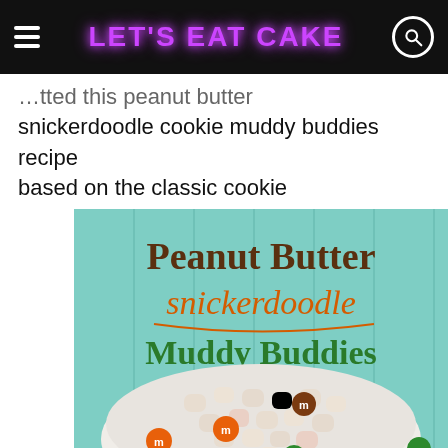LET'S EAT CAKE
…tted this peanut butter snickerdoodle cookie muddy buddies recipe based on the classic cookie
[Figure (photo): Photo of Peanut Butter Snickerdoodle Muddy Buddies — a bowl of white powder-coated cereal snacks mixed with orange and green M&Ms, against a light blue background. Text overlay reads 'Peanut Butter snickerdoodle Muddy Buddies']